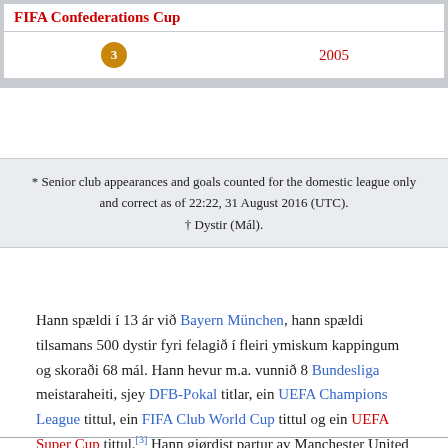| FIFA Confederations Cup |  |
| --- | --- |
| 3 (medal) | 2005 |
* Senior club appearances and goals counted for the domestic league only and correct as of 22:22, 31 August 2016 (UTC). † Dystir (Mál).
Hann spældi í 13 ár við Bayern München, hann spældi tilsamans 500 dystir fyri felagið í fleiri ymiskum kappingum og skoraði 68 mál. Hann hevur m.a. vunnið 8 Bundesliga meistaraheiti, sjey DFB-Pokal titlar, ein UEFA Champions League tittul, ein FIFA Club World Cup tittul og ein UEFA Super Cup tittul.[3] Hann gjørdist partur av Manchester United í 2015.
Keldur